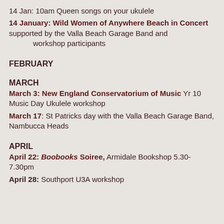14 Jan: 10am Queen songs on your ukulele
14 January: Wild Women of Anywhere Beach in Concert supported by the Valla Beach Garage Band and workshop participants
FEBRUARY
MARCH
March 3: New England Conservatorium of Music Yr 10 Music Day Ukulele workshop
March 17: St Patricks day with the Valla Beach Garage Band, Nambucca Heads
APRIL
April 22: Boobooks Soiree, Armidale Bookshop 5.30-7.30pm
April 28: Southport U3A workshop